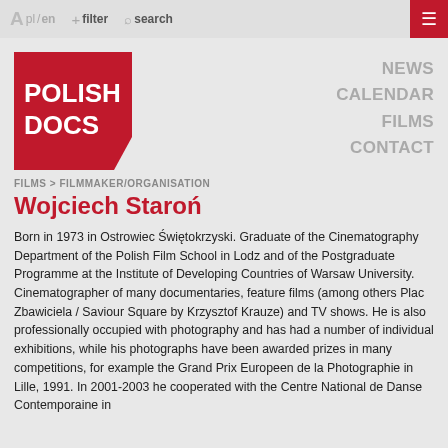A pl / en  + filter  Q search  ≡
[Figure (logo): Polish Docs logo — white text 'POLISH DOCS' on red background with notched bottom-right corner]
NEWS
CALENDAR
FILMS
CONTACT
FILMS > FILMMAKER/ORGANISATION
Wojciech Staroń
Born in 1973 in Ostrowiec Świętokrzyski. Graduate of the Cinematography Department of the Polish Film School in Lodz and of the Postgraduate Programme at the Institute of Developing Countries of Warsaw University. Cinematographer of many documentaries, feature films (among others Plac Zbawiciela / Saviour Square by Krzysztof Krauze) and TV shows. He is also professionally occupied with photography and has had a number of individual exhibitions, while his photographs have been awarded prizes in many competitions, for example the Grand Prix Europeen de la Photographie in Lille, 1991. In 2001-2003 he cooperated with the Centre National de Danse Contemporaine in